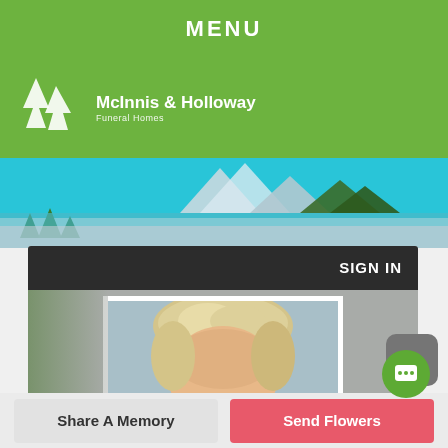MENU
[Figure (logo): McInnis & Holloway Funeral Homes logo with pine tree icon on green background]
[Figure (photo): Scenic mountain lake banner with turquoise water, pine trees, and rocky mountains]
[Figure (screenshot): Mobile app interface showing SIGN IN button in dark header bar and portrait photo of elderly person with blonde/white hair below, placed on grey background]
Share A Memory
Send Flowers